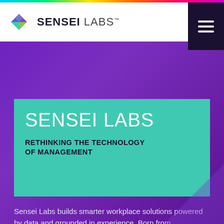[Figure (logo): Sensei Labs logo with colorful diamond/cube icon and text SENSEI LABS in header nav bar]
SENSEI LABS
RETHINKING THE TECHNOLOGY OF MANAGEMENT
Sensei Labs builds smarter workplace solutions powered by data and grounded in experience. Born from experiments in technology, we've evolved from the lessons we learned in-house to create the workplace tools that enterprises around the world use to run their most critical projects.